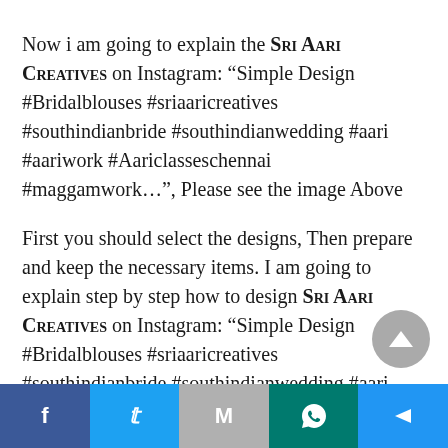Now i am going to explain the Sri Aari Creatives on Instagram: "Simple Design #Bridalblouses #sriaaricreatives #southindianbride #southindianwedding #aari #aariwork #Aariclasseschennai #maggamwork…", Please see the image Above
First you should select the designs, Then prepare and keep the necessary items. I am going to explain step by step how to design Sri Aari Creatives on Instagram: "Simple Design #Bridalblouses #sriaaricreatives #southindianbride #southindianwedding #aari #aariwork #Aariclasseschennai #maggamwork…" with aari work.
[Figure (other): Gray circular scroll-to-top button with upward triangle arrow]
[Figure (infographic): Footer share bar with Facebook, Twitter, Gmail, WhatsApp, and Share buttons]